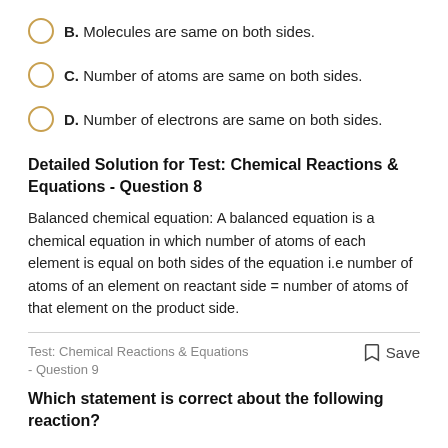B. Molecules are same on both sides.
C. Number of atoms are same on both sides.
D. Number of electrons are same on both sides.
Detailed Solution for Test: Chemical Reactions & Equations - Question 8
Balanced chemical equation: A balanced equation is a chemical equation in which number of atoms of each element is equal on both sides of the equation i.e number of atoms of an element on reactant side = number of atoms of that element on the product side.
Test: Chemical Reactions & Equations - Question 9   Save
Which statement is correct about the following reaction?